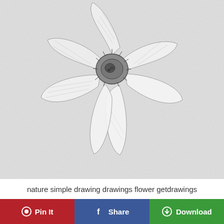[Figure (illustration): Pencil sketch drawing of a flower viewed from the front, showing multiple rounded petals radiating from a dark textured center (stamen/pistil area). The petals are lightly shaded with pencil hatching. The background is a light grey textured surface.]
nature simple drawing drawings flower getdrawings
Pin It
Share
Download